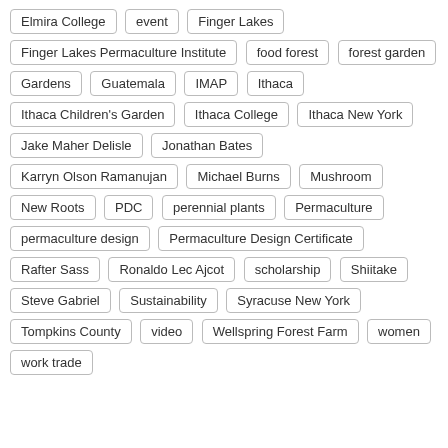Elmira College
event
Finger Lakes
Finger Lakes Permaculture Institute
food forest
forest garden
Gardens
Guatemala
IMAP
Ithaca
Ithaca Children's Garden
Ithaca College
Ithaca New York
Jake Maher Delisle
Jonathan Bates
Karryn Olson Ramanujan
Michael Burns
Mushroom
New Roots
PDC
perennial plants
Permaculture
permaculture design
Permaculture Design Certificate
Rafter Sass
Ronaldo Lec Ajcot
scholarship
Shiitake
Steve Gabriel
Sustainability
Syracuse New York
Tompkins County
video
Wellspring Forest Farm
women
work trade